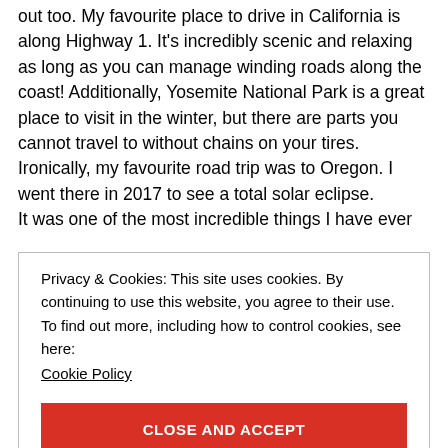out too. My favourite place to drive in California is along Highway 1. It's incredibly scenic and relaxing as long as you can manage winding roads along the coast! Additionally, Yosemite National Park is a great place to visit in the winter, but there are parts you cannot travel to without chains on your tires. Ironically, my favourite road trip was to Oregon. I went there in 2017 to see a total solar eclipse. It was one of the most incredible things I have ever
Privacy & Cookies: This site uses cookies. By continuing to use this website, you agree to their use. To find out more, including how to control cookies, see here: Cookie Policy
CLOSE AND ACCEPT
time. Therefore, I didn't get out much to see the city. Once